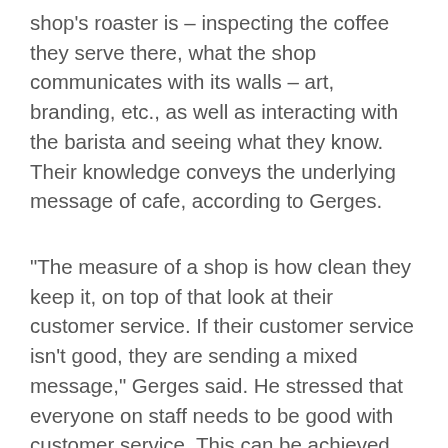shop's roaster is – inspecting the coffee they serve there, what the shop communicates with its walls – art, branding, etc., as well as interacting with the barista and seeing what they know. Their knowledge conveys the underlying message of cafe, according to Gerges.
"The measure of a shop is how clean they keep it, on top of that look at their customer service. If their customer service isn't good, they are sending a mixed message," Gerges said. He stressed that everyone on staff needs to be good with customer service. This can be achieved with as simple of a gesture as a smile, and greatly improved by baristas delivering orders to tables when the customer